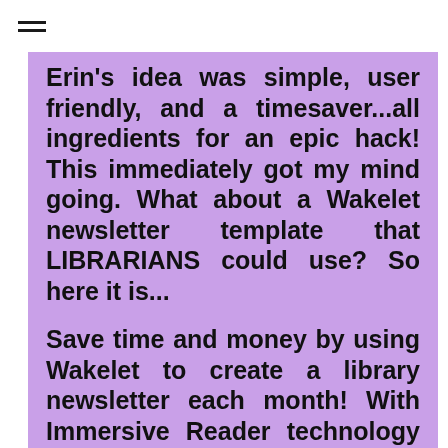≡
Erin's idea was simple, user friendly, and a timesaver...all ingredients for an epic hack! This immediately got my mind going. What about a Wakelet newsletter template that LIBRARIANS could use? So here it is...
Save time and money by using Wakelet to create a library newsletter each month! With Immersive Reader technology by Microsoft, your newsletters